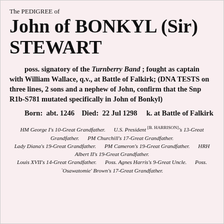The PEDIGREE of
John of BONKYL (Sir) STEWART
poss. signatory of the Turnberry Band ; fought as captain with William Wallace, q.v., at Battle of Falkirk; (DNA TESTS on three lines, 2 sons and a nephew of John, confirm that the Snp R1b-S781 mutated specifically in John of Bonkyl)
Born:  abt. 1246    Died:  22 Jul 1298     k. at Battle of Falkirk
HM George I's 10-Great Grandfather.      U.S. President [B. HARRISON]'s 13-Great Grandfather.      PM Churchill's 17-Great Grandfather.      Lady Diana's 19-Great Grandfather.      PM Cameron's 19-Great Grandfather.      HRH Albert II's 19-Great Grandfather.      Louis XVII's 14-Great Grandfather.      Poss. Agnes Harris's 9-Great Uncle.      Poss. `Osawatomie' Brown's 17-Great Grandfather.